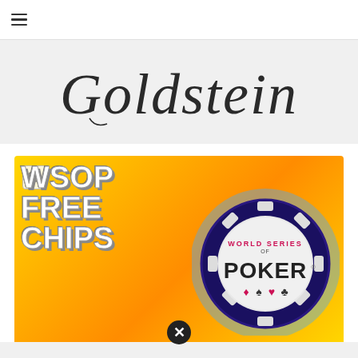≡ (hamburger menu)
[Figure (logo): Goldstein script/cursive logo text in dark gray on light gray background]
[Figure (illustration): WSOP Free Chips promotional banner image with yellow/orange gradient background. Left side shows bold white text 'WSOP FREE CHIPS'. Right side shows World Series of Poker poker chip logo with 'WORLD SERIES OF POKER' text and card suit symbols (diamond, spade, heart, club). A close/dismiss button (X in dark circle) appears at the bottom center.]